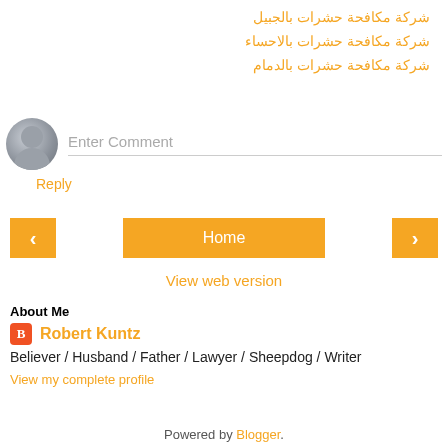شركة مكافحة حشرات بالجبيل
شركة مكافحة حشرات بالاحساء
شركة مكافحة حشرات بالدمام
Reply
Enter Comment
< Home >
View web version
About Me
Robert Kuntz
Believer / Husband / Father / Lawyer / Sheepdog / Writer
View my complete profile
Powered by Blogger.